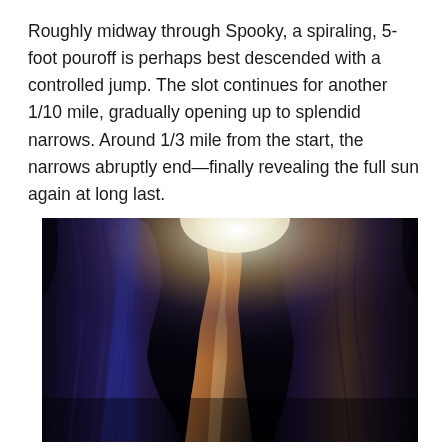Roughly midway through Spooky, a spiraling, 5-foot pouroff is perhaps best descended with a controlled jump. The slot continues for another 1/10 mile, gradually opening up to splendid narrows. Around 1/3 mile from the start, the narrows abruptly end—finally revealing the full sun again at long last.
[Figure (photo): A dramatic upward-looking photograph inside a narrow slot canyon. The canyon walls are dark blue-purple and reddish-orange sandstone. A bright beam of light pierces through the narrow opening at the top center, illuminating the undulating canyon walls.]